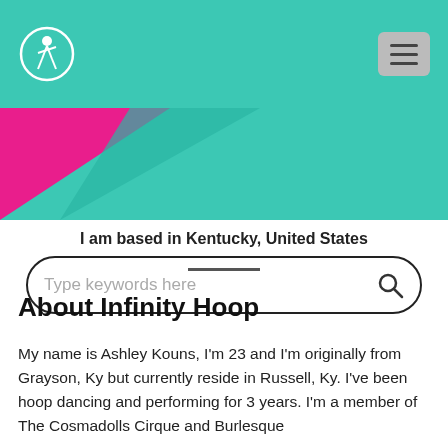[Figure (logo): Website header with teal background, circular logo icon on the left, and hamburger menu button on the right]
[Figure (illustration): Teal and magenta/pink decorative geometric shapes with a search bar overlaid]
I am based in Kentucky, United States
About Infinity Hoop
My name is Ashley Kouns, I’m 23 and I’m originally from Grayson, Ky but currently reside in Russell, Ky. I’ve been hoop dancing and performing for 3 years. I’m a member of The Cosmadolls Cirque and Burlesque